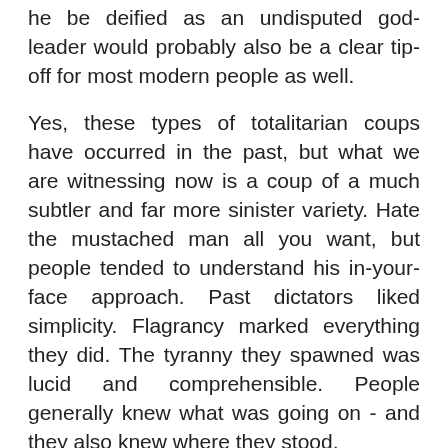he be deified as an undisputed god-leader would probably also be a clear tip-off for most modern people as well.
Yes, these types of totalitarian coups have occurred in the past, but what we are witnessing now is a coup of a much subtler and far more sinister variety. Hate the mustached man all you want, but people tended to understand his in-your-face approach. Past dictators liked simplicity. Flagrancy marked everything they did. The tyranny they spawned was lucid and comprehensible. People generally knew what was going on - and they also knew where they stood.
The Establishment, our modern totalitarians and the governments they control, are also rather brazen, both in actions and in words, but unlike strongmen of the past, barely anyone seems